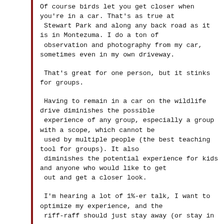Of course birds let you get closer when you're in a car. That's as true at Stewart Park and along any back road as it is in Montezuma. I do a ton of observation and photography from my car, sometimes even in my own driveway.
That's great for one person, but it stinks for groups.
Having to remain in a car on the wildlife drive diminishes the possible experience of any group, especially a group with a scope, which cannot be used by multiple people (the best teaching tool for groups). It also diminishes the potential experience for kids and anyone who would like to get out and get a closer look.
I'm hearing a lot of 1%-er talk, I want to optimize my experience, and the riff-raff should just stay away (or stay in